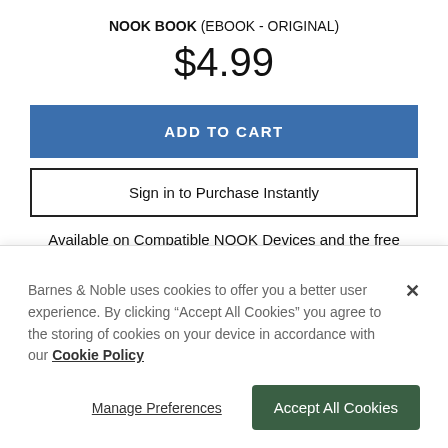NOOK BOOK (EBOOK - ORIGINAL)
$4.99
ADD TO CART
Sign in to Purchase Instantly
Available on Compatible NOOK Devices and the free
Barnes & Noble uses cookies to offer you a better user experience. By clicking “Accept All Cookies” you agree to the storing of cookies on your device in accordance with our Cookie Policy
Manage Preferences
Accept All Cookies